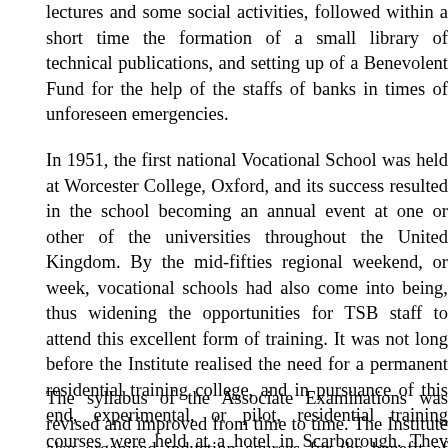lectures and some social activities, followed within a short time the formation of a small library of technical publications, and setting up of a Benevolent Fund for the help of the staffs of banks in times of unforeseen emergencies.
In 1951, the first national Vocational School was held at Worcester College, Oxford, and its success resulted in the school becoming an annual event at one or other of the universities throughout the United Kingdom. By the mid-fifties regional weekend, or week, vocational schools had also come into being, thus widening the opportunities for TSB staff to attend this excellent form of training. It was not long before the Institute realised the need for a permanent residential training college, and in pursuance of this end, experimental, or pilot, residential training courses were held at a hotel in Scarborough. They were an immediate success, and the Institute was then faced with the task of finding a home for the proposed College. The acquisition of a former hotel in Creynolds Lane, Shirley, Solihull, quickly followed, and its development and progress resulted in it eventually becoming the Management College for the TSBs following the post-Page reforms, and later for Lloyds TSB.
The syllabus of the Associate Examinations was revised and improved from time to time. The Institute also organised induction courses for the benefit of new staff; travel scholarships were awarded to more senior staff; and the In...